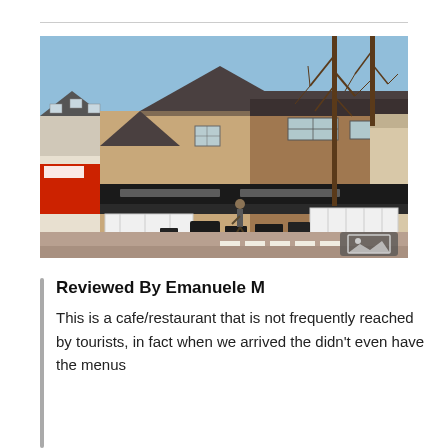[Figure (photo): Exterior photo of a cafe/restaurant building in a Dutch town. Shows brick buildings with pitched roofs, outdoor seating with dark chairs and tables, bare winter trees, and a person walking on the sidewalk. A red shop facade is visible on the left and white fence-like structures frame the outdoor seating areas. Clear blue sky in the background.]
Reviewed By Emanuele M
This is a cafe/restaurant that is not frequently reached by tourists, in fact when we arrived the didn't even have the menus